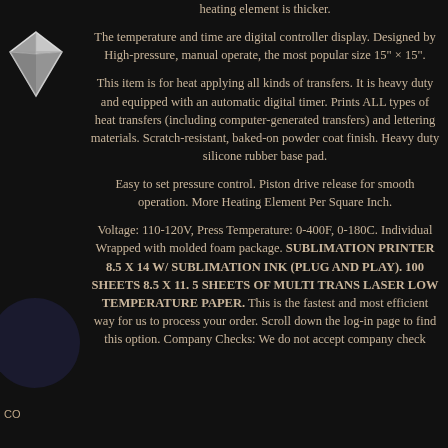[Figure (illustration): Diamond gem illustration in upper left corner]
heating element is thicker.
The temperature and time are digital controller display. Designed by High-pressure, manual operate, the most popular size 15" × 15".
This item is for heat applying all kinds of transfers. It is heavy duty and equipped with an automatic digital timer. Prints ALL types of heat transfers (including computer-generated transfers) and lettering materials. Scratch-resistant, baked-on powder coat finish. Heavy duty silicone rubber base pad.
Easy to set pressure control. Piston drive release for smooth operation. More Heating Element Per Square Inch.
Voltage: 110-120V, Press Temperature: 0-400F, 0-180C. Individual Wrapped with molded foam package. SUBLIMATION PRINTER 8.5 X 14 W/ SUBLIMATION INK (PLUG AND PLAY). 100 SHEETS 8.5 X 11. 5 SHEETS OF MULTI TRANS LASER LOW TEMPERATURE PAPER. This is the fastest and most efficient way for us to process your order. Scroll down the log-in page to find this option. Company Checks: We do not accept company checks.